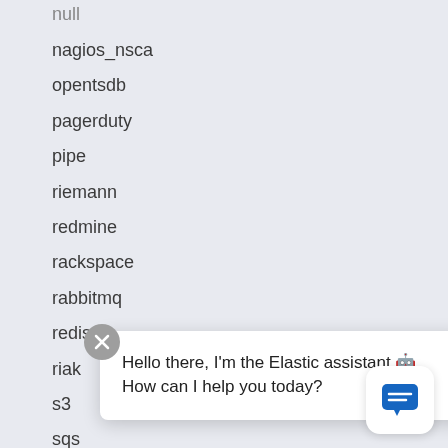null
nagios_nsca
opentsdb
pagerduty
pipe
riemann
redmine
rackspace
rabbitmq
redis
riak
s3
sqs
stomp
Hello there, I'm the Elastic assistant 🤖 How can I help you today?